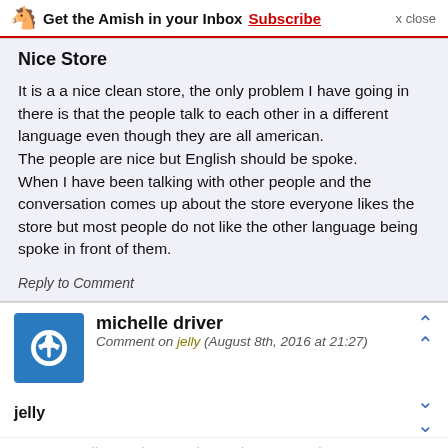Get the Amish in your Inbox Subscribe x close
Nice Store
It is a a nice clean store, the only problem I have going in there is that the people talk to each other in a different language even though they are all american.
The people are nice but English should be spoke.
When I have been talking with other people and the conversation comes up about the store everyone likes the store but most people do not like the other language being spoke in front of them.
Reply to Comment
michelle driver
Comment on jelly (August 8th, 2016 at 21:27)
jelly
can you mail an order out, do you have a catalog? thanks